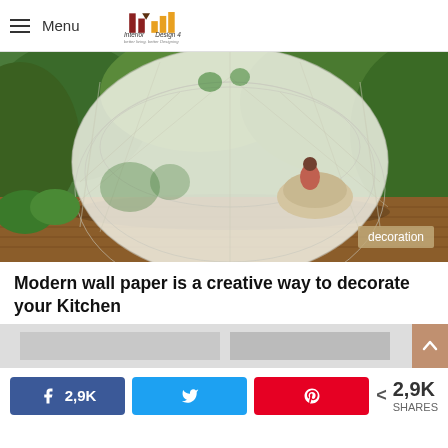Menu | Interior Design 4 — better living, better Designing
[Figure (photo): A geodesic dome garden room made of white polycarbonate panels and a structural frame, set on a wooden deck surrounded by lush green plants. A woman reclines inside on a round chair. Badge reads 'decoration'.]
Modern wall paper is a creative way to decorate your Kitchen
[Figure (photo): Partial view of a second interior design photo, cropped at bottom of page.]
2,9K SHARES — Facebook 2,9K | Twitter | Pinterest | < 2,9K SHARES